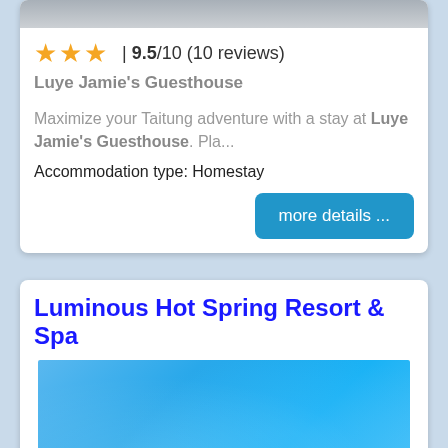[Figure (photo): Top portion of a photo (cropped), appears to be a guesthouse image]
★★★ | 9.5/10 (10 reviews)
Luye Jamie's Guesthouse
Maximize your Taitung adventure with a stay at Luye Jamie's Guesthouse. Pla...
Accommodation type: Homestay
more details ...
Luminous Hot Spring Resort & Spa
[Figure (photo): Photo of a bright blue hot spring or pool at the Luminous Hot Spring Resort & Spa]